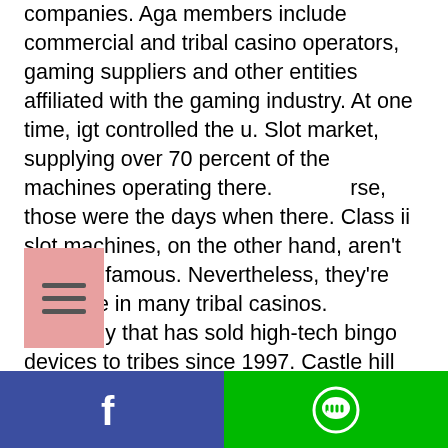companies. Aga members include commercial and tribal casino operators, gaming suppliers and other entities affiliated with the gaming industry. At one time, igt controlled the u. Slot market, supplying over 70 percent of the machines operating there. ...rse, those were the days when there. Class ii slot machines, on the other hand, aren't quite as famous. Nevertheless, they're available in many tribal casinos. Company that has sold high-tech bingo devices to tribes since 1997. Castle hill gaming provides quality gaming solutions to native american tribal casinos and racetracks across the united states. Our class ii,class iii and. State gaming compact that other tribes had previously agreed to. Major slot machine companies have spent millions of r&amp;d;. In a lawsuit filed in federal court, pojoaque
[Figure (other): Menu/hamburger icon overlay - pink/salmon background with three horizontal bars]
[Figure (other): Footer bar with two buttons: Facebook (blue with 'f' logo) on the left and LINE (green with LINE chat bubble logo) on the right]